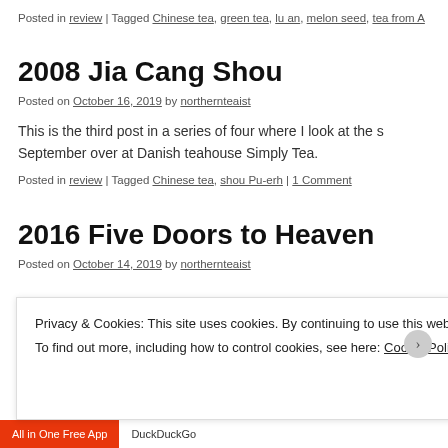Posted in review | Tagged Chinese tea, green tea, lu an, melon seed, tea from A
2008 Jia Cang Shou
Posted on October 16, 2019 by northernteaist
This is the third post in a series of four where I look at the s September over at Danish teahouse Simply Tea.
Posted in review | Tagged Chinese tea, shou Pu-erh | 1 Comment
2016 Five Doors to Heaven
Posted on October 14, 2019 by northernteaist
Privacy & Cookies: This site uses cookies. By continuing to use this website, you agree to their use.
To find out more, including how to control cookies, see here: Cookie Policy
Close and accept
All in One Free App  DuckDuckGo